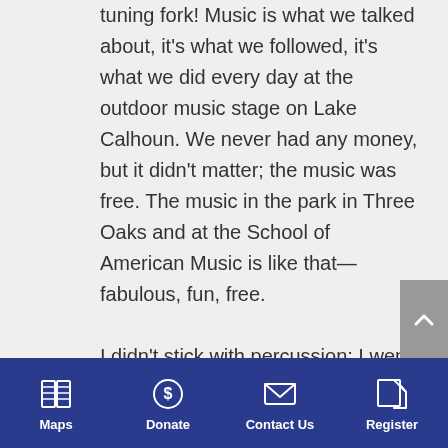tuning fork! Music is what we talked about, it's what we followed, it's what we did every day at the outdoor music stage on Lake Calhoun. We never had any money, but it didn't matter; the music was free. The music in the park in Three Oaks and at the School of American Music is like that—fabulous, fun, free.

I didn't stick with percussion; I went on to become an architect. But my work is not dissimilar to SAM's. I
Maps | Donate | Contact Us | Register